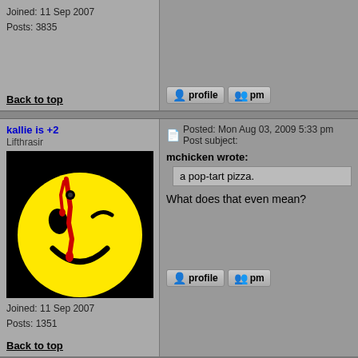Joined: 11 Sep 2007
Posts: 3835
Back to top
kallie is +2
Lifthrasir
[Figure (illustration): Watchmen smiley face avatar - yellow smiley face with blood splatter on black background]
Joined: 11 Sep 2007
Posts: 1351
Posted: Mon Aug 03, 2009 5:33 pm   Post subject:
mchicken wrote:
a pop-tart pizza.
What does that even mean?
Back to top
mchicken is dejected.
Cover of Rush's Seminal Album
Posted: Mon Aug 03, 2009 5:36 pm   Post subject: